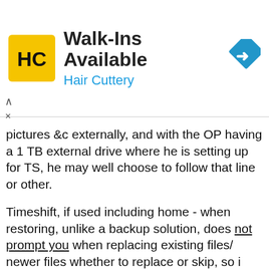[Figure (advertisement): Hair Cuttery advertisement banner with yellow logo showing HC letters, text 'Walk-Ins Available' and 'Hair Cuttery' in blue, and a blue diamond road sign arrow icon]
pictures &c externally, and with the OP having a 1 TB external drive where he is setting up for TS, he may well choose to follow that line or other.
Timeshift, if used including home - when restoring, unlike a backup solution, does not prompt you when replacing existing files/ newer files whether to replace or skip, so i make that quite clear, as does Tony.
but using my method, i do not lose anything, and that has served me well for years.
any other questions or opinions on Timeshift's capabilities and shortcomings, are better served being placed at my Thread, which has an audience of over 40,000 and may help more.
Meantime, i think the OP's question has been asked and